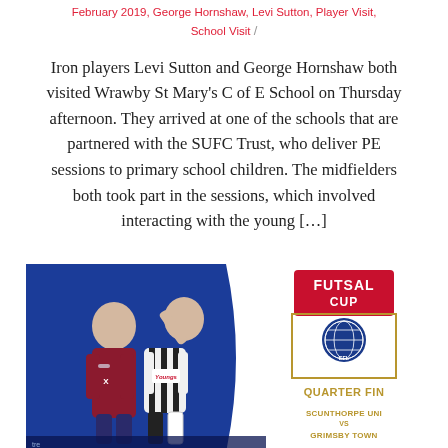February 2019, George Hornshaw, Levi Sutton, Player Visit, School Visit
Iron players Levi Sutton and George Hornshaw both visited Wrawby St Mary's C of E School on Thursday afternoon. They arrived at one of the schools that are partnered with the SUFC Trust, who deliver PE sessions to primary school children. The midfielders both took part in the sessions, which involved interacting with the young […]
[Figure (photo): Two football players in team kits standing in front of a blue background, alongside a Futsal Cup quarter final promotional graphic showing SCUNTHORPE UNITED vs GRIMSBY TOWN, with EFL Trust branding.]